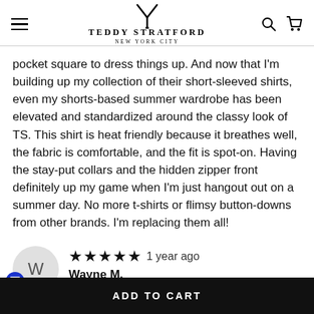Teddy Stratford New York City
pocket square to dress things up. And now that I'm building up my collection of their short-sleeved shirts, even my shorts-based summer wardrobe has been elevated and standardized around the classy look of TS. This shirt is heat friendly because it breathes well, the fabric is comfortable, and the fit is spot-on. Having the stay-put collars and the hidden zipper front definitely up my game when I'm just hangout out on a summer day. No more t-shirts or flimsy button-downs from other brands. I'm replacing them all!
★★★★★ 1 year ago
Wayne M.